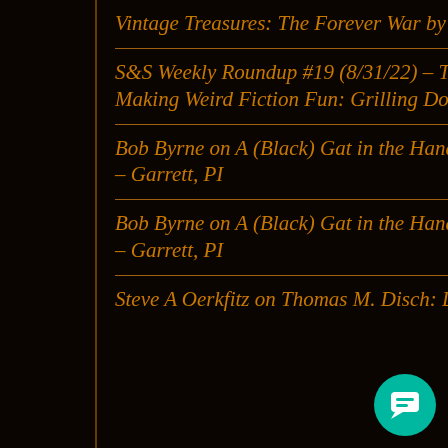Vintage Treasures: The Forever War by Joe Haldeman
S&S Weekly Roundup #19 (8/31/22) – Thews You Can Use on Making Weird Fiction Fun: Grilling Dorgo the Dowser!
Bob Byrne on A (Black) Gat in the Hand: Hardboiled Fantasy – Garrett, PI
Bob Byrne on A (Black) Gat in the Hand: Hardboiled Fantasy – Garrett, PI
Steve A Oerkfitz on Thomas M. Disch: Love and Nonexistence